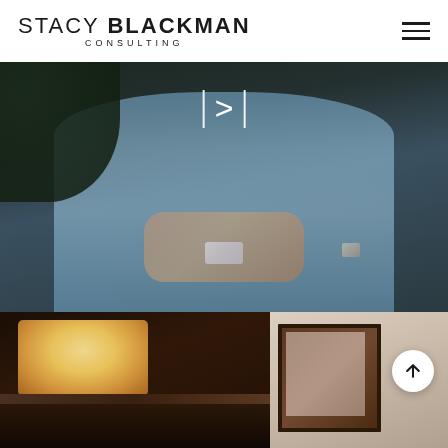STACY BLACKMAN CONSULTING
[Figure (photo): Hero background: person in blue shirt holding a smartphone, dark overlay, with navigation arrows (| > |) overlaid in white]
[Figure (photo): Thumbnail bottom-left: interior ceiling with warm glowing square light fixture, dark wooden elements]
[Figure (photo): Thumbnail bottom-right: interior room with framed artwork on wall]